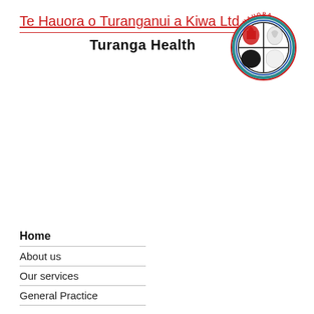Te Hauora o Turanganui a Kiwa Ltd
Turanga Health
[Figure (logo): Turanga Health circular logo with Maori design elements, divided into quadrants in black and white, surrounded by teal and red decorative border, with red text 'HAUORA' at top]
Home
About us
Our services
General Practice